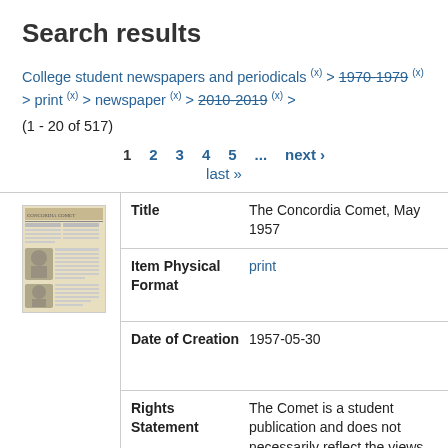Search results
College student newspapers and periodicals (x) > 1970-1979 (x) > print (x) > newspaper (x) > 2010-2019 (x) >
(1 - 20 of 517)
1  2  3  4  5  ...  next ›  last »
[Figure (photo): Thumbnail image of a newspaper page, The Concordia Comet, showing an old newspaper layout with text columns and a portrait photo.]
| Field | Value |
| --- | --- |
| Title | The Concordia Comet, May 1957 |
| Item Physical Format | print |
| Date of Creation | 1957-05-30 |
| Rights Statement | The Comet is a student publication and does not necessarily reflect the views of the administration, faculty, or staff. This Item is protected by |